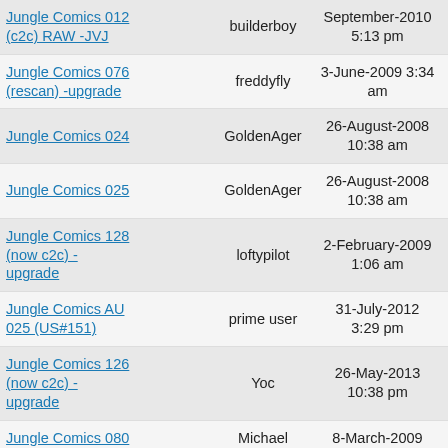| Title | Submitter | Date | Views | Replies |
| --- | --- | --- | --- | --- |
| Jungle Comics 012 (c2c) RAW -JVJ | builderboy | September-2010 5:13 pm | 960 | 2 |
| Jungle Comics 076 (rescan) -upgrade | freddyfly | 3-June-2009 3:34 am | 684 | 0 |
| Jungle Comics 024 | GoldenAger | 26-August-2008 10:38 am | 713 | 0 |
| Jungle Comics 025 | GoldenAger | 26-August-2008 10:38 am | 710 | 0 |
| Jungle Comics 128 (now c2c) - upgrade | loftypilot | 2-February-2009 1:06 am | 609 | 1 |
| Jungle Comics AU 025 (US#151) | prime user | 31-July-2012 3:29 pm | 340 | 1 |
| Jungle Comics 126 (now c2c) - upgrade | Yoc | 26-May-2013 10:38 pm | 601 | 0 |
| Jungle Comics 080 (incomplete)-48pgs | Michael Barnes | 8-March-2009 3:19 pm | 417 | 0 |
| Jungle Comics 053 (rescan) -upgrade | freddyfly | 3-June-2014 8:37 am | 577 | 0 |
| (partial) 24-March-... |  |  |  |  |